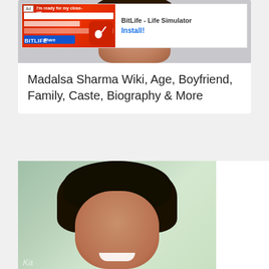[Figure (screenshot): Advertisement banner for BitLife - Life Simulator app with red background and sperm icon logo, showing Install button]
[Figure (photo): Partial photo of a woman with dark hair at the top of the page]
Madalsa Sharma Wiki, Age, Boyfriend, Family, Caste, Biography & More
[Figure (photo): Photo of Madalsa Sharma, a young Indian woman with curly dark hair, smiling, with green plants in background]
Advertisement
[Figure (screenshot): Advertisement banner for BitLife - Life Simulator app with blue background showing muscle emoji and cheating text, red BitLife logo, Install button]